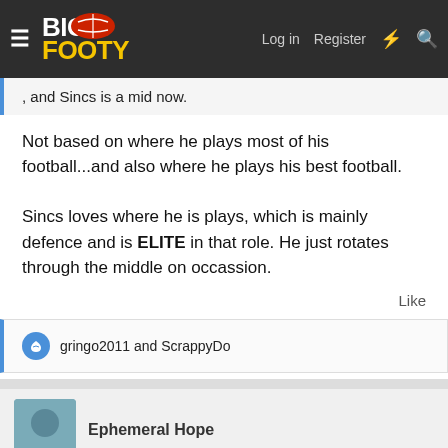BigFooty — Log in | Register
, and Sincs is a mid now.
Not based on where he plays most of his football...and also where he plays his best football.

Sincs loves where he is plays, which is mainly defence and is ELITE in that role. He just rotates through the middle on occassion.
Like
gringo2011 and ScrappyDo
Ephemeral Hope